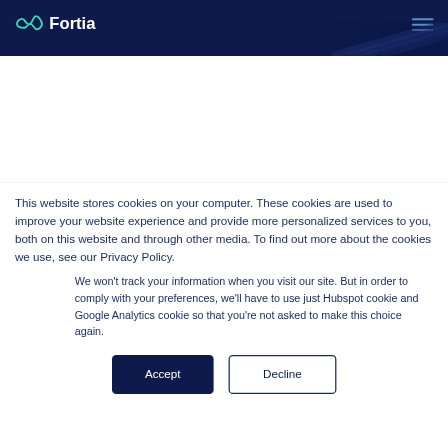Fortia
This website stores cookies on your computer. These cookies are used to improve your website experience and provide more personalized services to you, both on this website and through other media. To find out more about the cookies we use, see our Privacy Policy.
We won't track your information when you visit our site. But in order to comply with your preferences, we'll have to use just Hubspot cookie and Google Analytics cookie so that you're not asked to make this choice again.
Accept
Decline